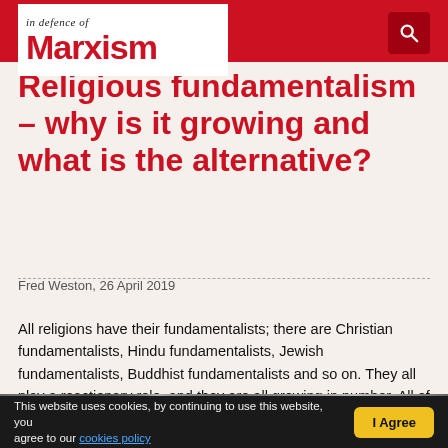In Defence of Marxism
Religious fundamentalism – why is it growing and what is the alternative?
Fred Weston, 26 April 2019
All religions have their fundamentalists; there are Christian fundamentalists, Hindu fundamentalists, Jewish fundamentalists, Buddhist fundamentalists and so on. They all play a reactionary role, and they are all growing in number. All of them believe they are the holders of the absolute truth, while all others are heretics or even the work of the devil himself. They are all used to sow division among toiling people around the world. The phenomenon affects all countries to one degree or another.
[Figure (photo): Crowd photo at a demonstration or rally, partially visible at bottom of page]
This website uses cookies, by continuing to use this website, you agree to our cookies policy